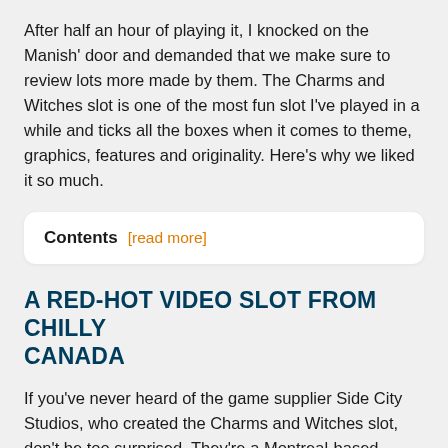After half an hour of playing it, I knocked on the Manish' door and demanded that we make sure to review lots more made by them. The Charms and Witches slot is one of the most fun slot I've played in a while and ticks all the boxes when it comes to theme, graphics, features and originality. Here's why we liked it so much.
Contents [read more]
A RED-HOT VIDEO SLOT FROM CHILLY CANADA
If you've never heard of the game supplier Side City Studios, who created the Charms and Witches slot, don't be too surprised. They're a Montreal-based company who specialise in land-based casino slots for the North American market.